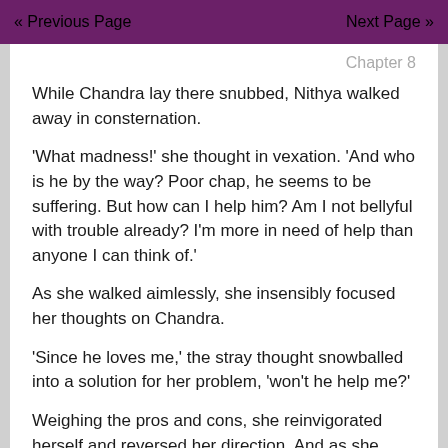<< Previous Page    Next Page >>
Chapter 8
While Chandra lay there snubbed, Nithya walked away in consternation.
'What madness!' she thought in vexation. 'And who is he by the way? Poor chap, he seems to be suffering. But how can I help him? Am I not bellyful with trouble already? I'm more in need of help than anyone I can think of.'
As she walked aimlessly, she insensibly focused her thoughts on Chandra.
'Since he loves me,' the stray thought snowballed into a solution for her problem, 'won't he help me?'
Weighing the pros and cons, she reinvigorated herself and reversed her direction. And as she returned to the nook, she found him lying like a corpse.
“Excuse me,” she said sweetly.